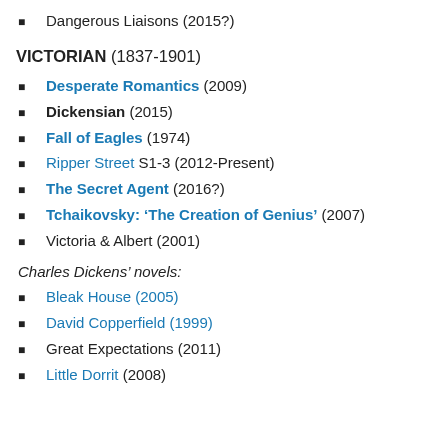Dangerous Liaisons (2015?)
VICTORIAN (1837-1901)
Desperate Romantics (2009)
Dickensian (2015)
Fall of Eagles (1974)
Ripper Street S1-3 (2012-Present)
The Secret Agent (2016?)
Tchaikovsky: ‘The Creation of Genius’ (2007)
Victoria & Albert (2001)
Charles Dickens’ novels:
Bleak House (2005)
David Copperfield (1999)
Great Expectations (2011)
Little Dorrit (2008)